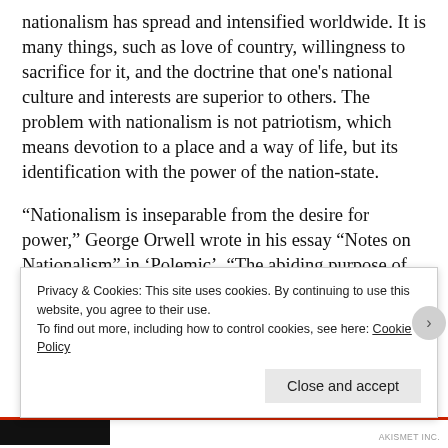nationalism has spread and intensified worldwide. It is many things, such as love of country, willingness to sacrifice for it, and the doctrine that one's national culture and interests are superior to others. The problem with nationalism is not patriotism, which means devotion to a place and a way of life, but its identification with the power of the nation-state.
“Nationalism is inseparable from the desire for power,” George Orwell wrote in his essay “Notes on Nationalism” in ‘Polemic’. “The abiding purpose of every nationalist is to secure more power and more prestige.” Patriots love their country for what it does. Nationalists love their country no matter what it does. Nationalism makes footstools of morality and ethics because
Privacy & Cookies: This site uses cookies. By continuing to use this website, you agree to their use.
To find out more, including how to control cookies, see here: Cookie Policy
Close and accept